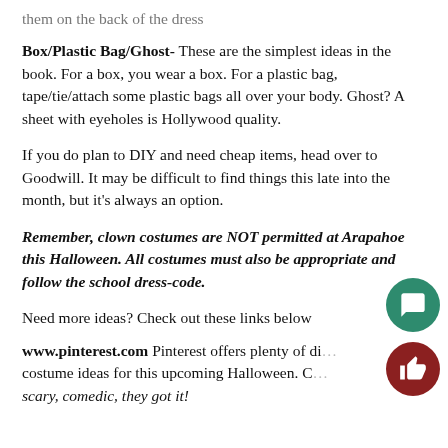them on the back of the dress
Box/Plastic Bag/Ghost- These are the simplest ideas in the book. For a box, you wear a box. For a plastic bag, tape/tie/attach some plastic bags all over your body. Ghost? A sheet with eyeholes is Hollywood quality.
If you do plan to DIY and need cheap items, head over to Goodwill. It may be difficult to find things this late into the month, but it's always an option.
Remember, clown costumes are NOT permitted at Arapahoe this Halloween. All costumes must also be appropriate and follow the school dress-code.
Need more ideas? Check out these links below
www.pinterest.com Pinterest offers plenty of di... costume ideas for this upcoming Halloween. C... scary, comedic, they got it!